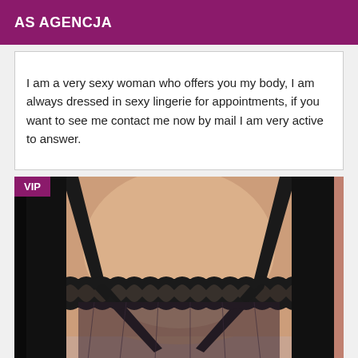AS AGENCJA
I am a very sexy woman who offers you my body, I am always dressed in sexy lingerie for appointments, if you want to see me contact me now by mail I am very active to answer.
[Figure (photo): Close-up photo of a woman wearing black lace lingerie with a VIP badge overlay in the top-left corner]